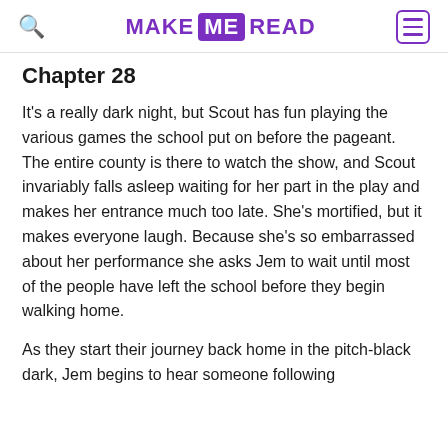MAKE ME READ
Chapter 28
It's a really dark night, but Scout has fun playing the various games the school put on before the pageant. The entire county is there to watch the show, and Scout invariably falls asleep waiting for her part in the play and makes her entrance much too late. She's mortified, but it makes everyone laugh. Because she's so embarrassed about her performance she asks Jem to wait until most of the people have left the school before they begin walking home.
As they start their journey back home in the pitch-black dark, Jem begins to hear someone following